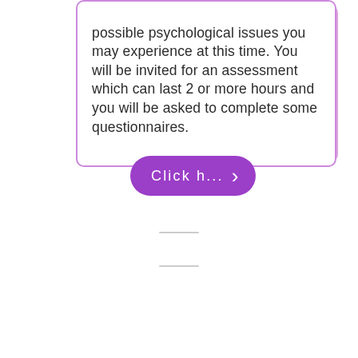possible psychological issues you may experience at this time. You will be invited for an assessment which can last 2 or more hours and you will be asked to complete some questionnaires.
[Figure (other): Purple pill-shaped button with text 'Click h...' and a right-pointing chevron arrow]